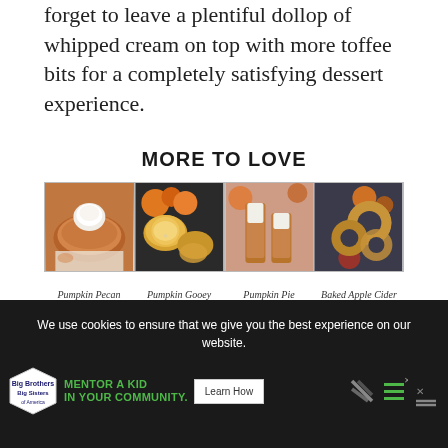forget to leave a plentiful dollop of whipped cream on top with more toffee bits for a completely satisfying dessert experience.
MORE TO LOVE
[Figure (photo): Four food photos side by side: Pumpkin Pecan Cheesecake, Pumpkin Gooey Butter Cookies, Pumpkin Pie Pudding Shots, Baked Apple Cider Doughnuts]
Pumpkin Pecan Cheesecake
Pumpkin Gooey Butter Cookies
Pumpkin Pie Pudding Shots
Baked Apple Cider Doughnuts
We use cookies to ensure that we give you the best experience on our website.
[Figure (illustration): Big Brothers Big Sisters of America logo and advertisement: MENTOR A KID IN YOUR COMMUNITY. Learn How button.]